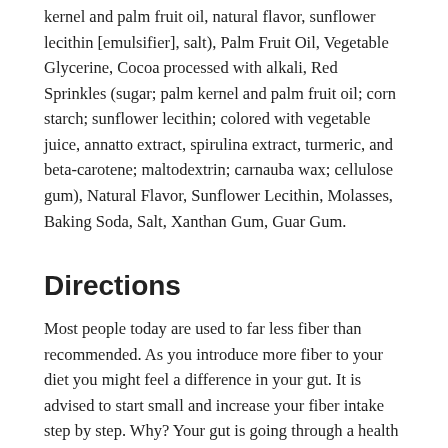kernel and palm fruit oil, natural flavor, sunflower lecithin [emulsifier], salt), Palm Fruit Oil, Vegetable Glycerine, Cocoa processed with alkali, Red Sprinkles (sugar; palm kernel and palm fruit oil; corn starch; sunflower lecithin; colored with vegetable juice, annatto extract, spirulina extract, turmeric, and beta-carotene; maltodextrin; carnauba wax; cellulose gum), Natural Flavor, Sunflower Lecithin, Molasses, Baking Soda, Salt, Xanthan Gum, Guar Gum.
Directions
Most people today are used to far less fiber than recommended. As you introduce more fiber to your diet you might feel a difference in your gut. It is advised to start small and increase your fiber intake step by step. Why? Your gut is going through a health revolution! Lenny & Larry's cookies contain a special prebiotic chicory root fiber, that feeds your good gut bacteria. Be patient and